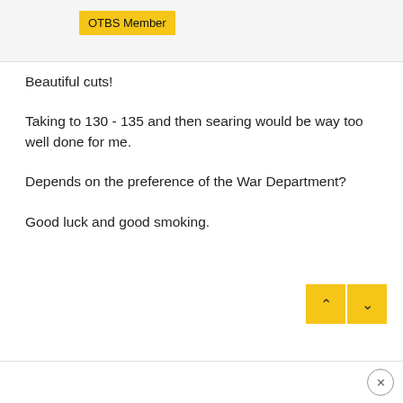OTBS Member
Beautiful cuts!
Taking to 130 - 135 and then searing would be way too well done for me.
Depends on the preference of the War Department?
Good luck and good smoking.